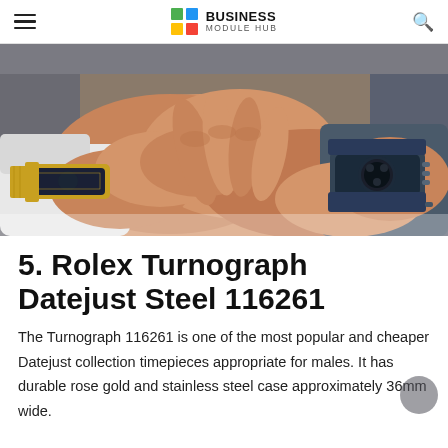Business Module Hub
[Figure (photo): Close-up photo of multiple hands stacked together, each wearing luxury watches including a gold Rolex Datejust and a large sport chronograph watch with blue rubber strap, men in business suits.]
5. Rolex Turnograph Datejust Steel 116261
The Turnograph 116261 is one of the most popular and cheaper Datejust collection timepieces appropriate for males. It has durable rose gold and stainless steel case approximately 36mm wide.